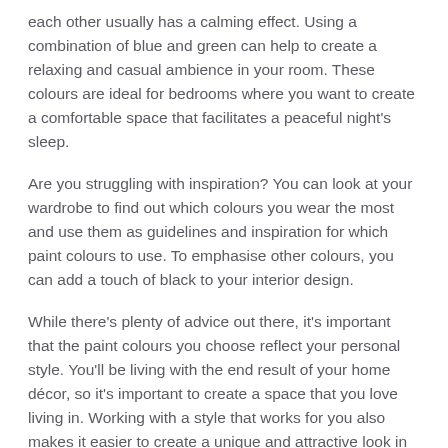each other usually has a calming effect. Using a combination of blue and green can help to create a relaxing and casual ambience in your room. These colours are ideal for bedrooms where you want to create a comfortable space that facilitates a peaceful night's sleep.
Are you struggling with inspiration? You can look at your wardrobe to find out which colours you wear the most and use them as guidelines and inspiration for which paint colours to use. To emphasise other colours, you can add a touch of black to your interior design.
While there's plenty of advice out there, it's important that the paint colours you choose reflect your personal style. You'll be living with the end result of your home décor, so it's important to create a space that you love living in. Working with a style that works for you also makes it easier to create a unique and attractive look in your home.
Painting strategies